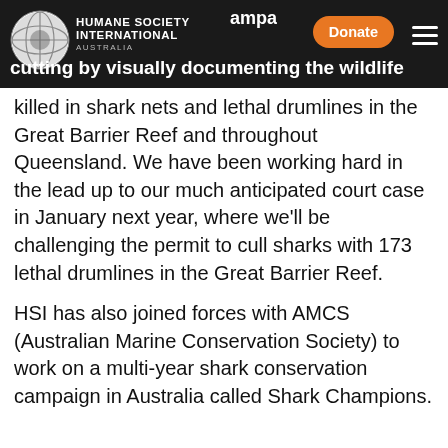Humane Society International Australia — navigation header with Donate button
...mped up our campaign a...rk cutting by visually documenting the wildlife killed in shark nets and lethal drumlines in the Great Barrier Reef and throughout Queensland. We have been working hard in the lead up to our much anticipated court case in January next year, where we'll be challenging the permit to cull sharks with 173 lethal drumlines in the Great Barrier Reef.
HSI has also joined forces with AMCS (Australian Marine Conservation Society) to work on a multi-year shark conservation campaign in Australia called Shark Champions.